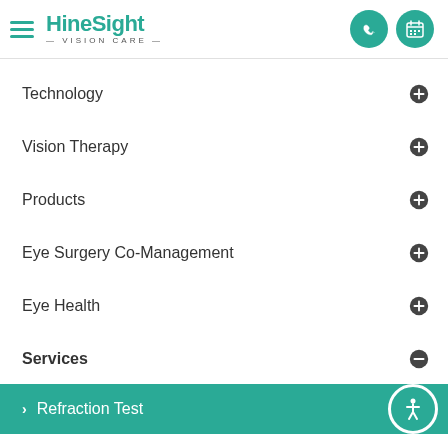[Figure (logo): HineSight Vision Care logo with hamburger menu, phone and calendar icon buttons]
Technology
Vision Therapy
Products
Eye Surgery Co-Management
Eye Health
Services
> Refraction Test